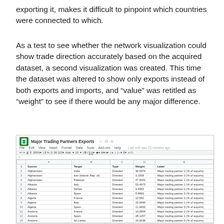exporting it, makes it difficult to pinpoint which countries were connected to which.
As a test to see whether the network visualization could show trade direction accurately based on the acquired dataset, a second visualization was created. This time the dataset was altered to show only exports instead of both exports and imports, and “value” was retitled as “weight” to see if there would be any major difference.
[Figure (screenshot): Screenshot of a Google Sheets spreadsheet titled 'Major Trading Partners Exports' showing a dataset with columns: Source, Target, Type, Weight, Label. Rows include Afghanistan, Albania, Algeria, Andorra trading data with Directed type entries and numeric weight values.]